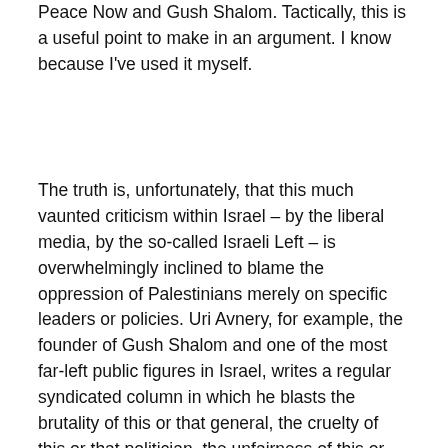Peace Now and Gush Shalom. Tactically, this is a useful point to make in an argument. I know because I've used it myself.
The truth is, unfortunately, that this much vaunted criticism within Israel – by the liberal media, by the so-called Israeli Left – is overwhelmingly inclined to blame the oppression of Palestinians merely on specific leaders or policies. Uri Avnery, for example, the founder of Gush Shalom and one of the most far-left public figures in Israel, writes a regular syndicated column in which he blasts the brutality of this or that general, the cruelty of this or that politician, the unfairness of this or that law. He's often quite incisive and witty. Avnery, like most of the Israeli left, is a Zionist – a critical one, to be sure, but a Zionist nonetheless who believes that a good movement has been corrupted by bad leaders and who periodically scans the horizon for the